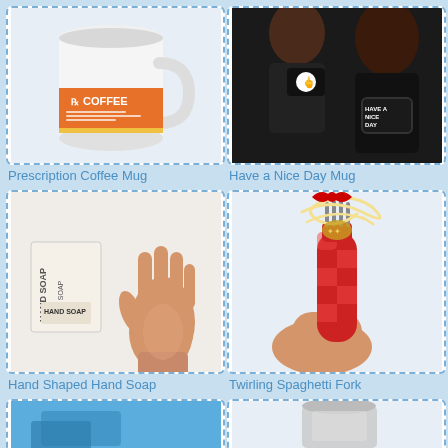[Figure (photo): Prescription Coffee Mug - a white ceramic mug shaped like a prescription pill bottle with an orange label reading COFFEE]
Prescription Coffee Mug
[Figure (photo): Have a Nice Day Mug - black mug with middle finger design shown by a woman holding it up; another woman drinks from a black mug reading HAVE A NICE DAY]
Have a Nice Day Mug
[Figure (photo): Hand Shaped Hand Soap - a skin-toned hand-shaped soap bar shown next to its box packaging labeled HAND SOAP]
Hand Shaped Hand Soap
[Figure (photo): Twirling Spaghetti Fork - a red motorized fork with spaghetti being twirled, held by a hand]
Twirling Spaghetti Fork
[Figure (photo): Partial view of a product in bottom-left cell (cut off)]
[Figure (photo): Partial view of a product in bottom-right cell (cut off)]